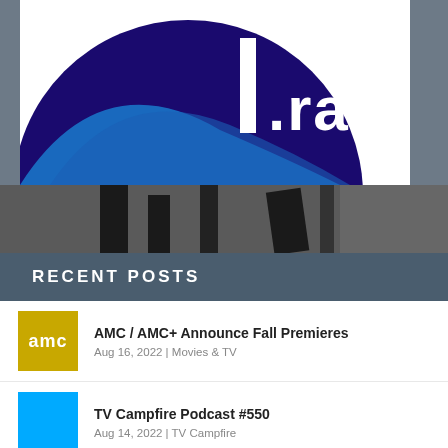[Figure (logo): 1.radio logo — dark navy blue circle with light blue accent arc, white text '.radio' in bold blocky font]
[Figure (photo): Dark background with black rectangular shapes/bars, partial view of what appears to be audio/broadcasting equipment]
RECENT POSTS
[Figure (photo): AMC network logo thumbnail — golden/yellow background with 'amc' text in white]
AMC / AMC+ Announce Fall Premieres
Aug 16, 2022 | Movies & TV
[Figure (photo): Blue square thumbnail placeholder]
TV Campfire Podcast #550
Aug 14, 2022 | TV Campfire
[Figure (photo): Blue square thumbnail placeholder]
SDCC 2022: The Orville: New Horizons Panel and Press Room